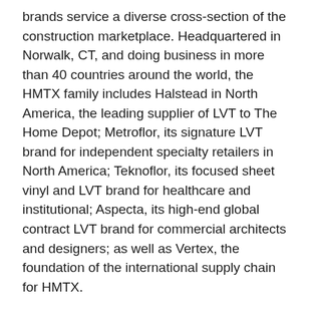brands service a diverse cross-section of the construction marketplace. Headquartered in Norwalk, CT, and doing business in more than 40 countries around the world, the HMTX family includes Halstead in North America, the leading supplier of LVT to The Home Depot; Metroflor, its signature LVT brand for independent specialty retailers in North America; Teknoflor, its focused sheet vinyl and LVT brand for healthcare and institutional; Aspecta, its high-end global contract LVT brand for commercial architects and designers; as well as Vertex, the foundation of the international supply chain for HMTX.
Under the leadership of HMTX, the two factories that manufacture a majority of Aspecta products were the first in China (and all of Asia) to achieve the JUST℠ social justice label. The JUST program